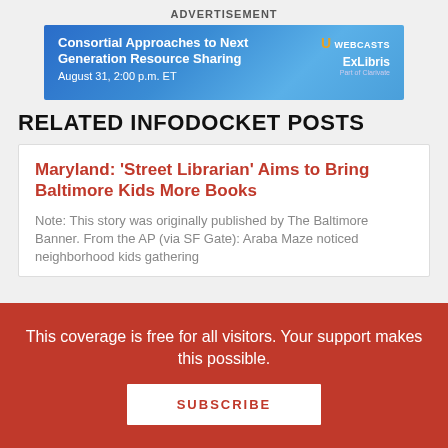ADVERTISEMENT
[Figure (infographic): Blue banner advertisement: 'Consortial Approaches to Next Generation Resource Sharing, August 31, 2:00 p.m. ET' with U Webcasts / ExLibris (Part of Clarivate) logo on the right.]
RELATED INFODOCKET POSTS
Maryland: 'Street Librarian' Aims to Bring Baltimore Kids More Books
Note: This story was originally published by The Baltimore Banner. From the AP (via SF Gate): Araba Maze noticed neighborhood kids gathering
This coverage is free for all visitors. Your support makes this possible.
SUBSCRIBE